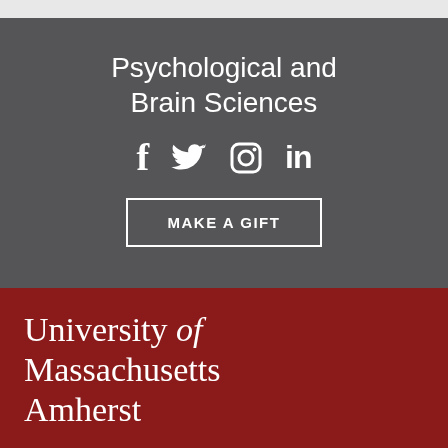Psychological and Brain Sciences
[Figure (illustration): Social media icons: Facebook (f), Twitter (bird), Instagram (camera), LinkedIn (in)]
MAKE A GIFT
[Figure (logo): University of Massachusetts Amherst logo in white text on dark red background]